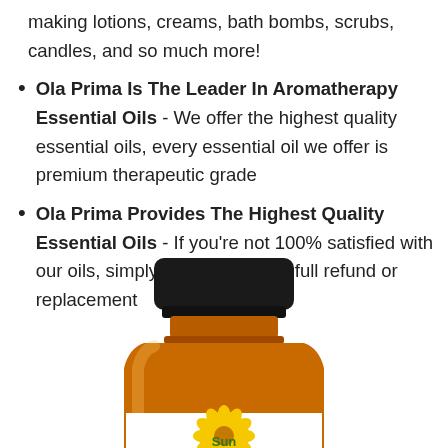making lotions, creams, bath bombs, scrubs, candles, and so much more!
Ola Prima Is The Leader In Aromatherapy Essential Oils - We offer the highest quality essential oils, every essential oil we offer is premium therapeutic grade
Ola Prima Provides The Highest Quality Essential Oils - If you're not 100% satisfied with our oils, simply contact us for a full refund or replacement
[Figure (photo): Amber glass essential oil bottle with black cap and white label showing a sunflower and the word 'Sun', cropped showing top portion of bottle]